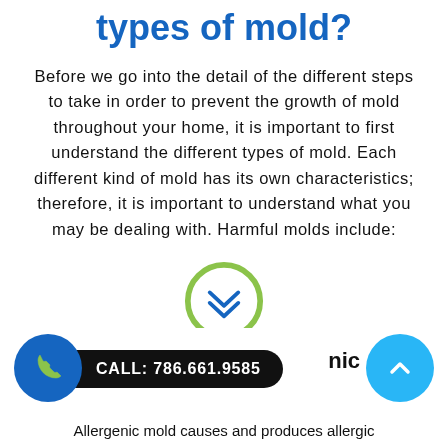types of mold?
Before we go into the detail of the different steps to take in order to prevent the growth of mold throughout your home, it is important to first understand the different types of mold. Each different kind of mold has its own characteristics; therefore, it is important to understand what you may be dealing with. Harmful molds include:
[Figure (illustration): A circular button with a green border containing a blue double chevron (down arrow) icon in the center, indicating a scroll-down or expand action.]
CALL: 786.661.9585
nic
Allergenic mold causes and produces allergic reactions, including asthma and other related...